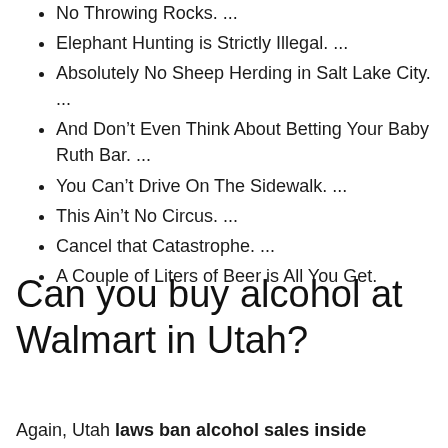No Throwing Rocks. ...
Elephant Hunting is Strictly Illegal. ...
Absolutely No Sheep Herding in Salt Lake City. ...
And Don't Even Think About Betting Your Baby Ruth Bar. ...
You Can't Drive On The Sidewalk. ...
This Ain't No Circus. ...
Cancel that Catastrophe. ...
A Couple of Liters of Beer is All You Get.
Can you buy alcohol at Walmart in Utah?
Again, Utah laws ban alcohol sales inside